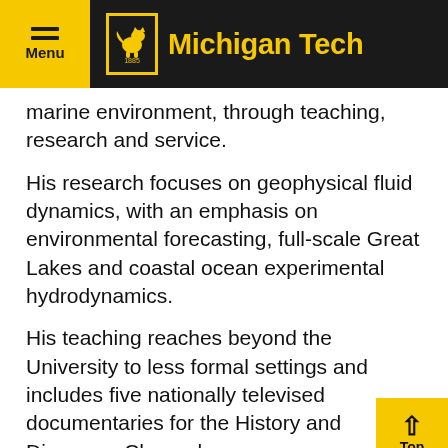Menu | Michigan Tech
marine environment, through teaching, research and service.
His research focuses on geophysical fluid dynamics, with an emphasis on environmental forecasting, full-scale Great Lakes and coastal ocean experimental hydrodynamics.
His teaching reaches beyond the University to less formal settings and includes five nationally televised documentaries for the History and Discovery Channels.
Read & View More
Head back to the Great Lakes Mission...